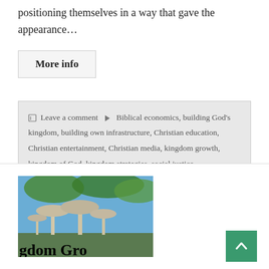positioning themselves in a way that gave the appearance…
More info
Leave a comment  Biblical economics, building God's kingdom, building own infrastructure, Christian education, Christian entertainment, Christian media, kingdom growth, kingdom of God, kingdom strategies, social justice
[Figure (photo): Photo of mushrooms in nature with text overlay reading 'gdom Gro' (partial: Kingdom Growth)]